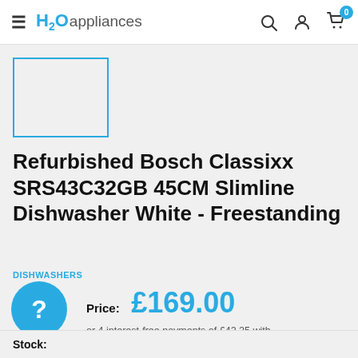H2O appliances — navigation bar with search, account, and cart (0 items)
[Figure (photo): Product image placeholder — blue outlined rectangle on grey background]
Refurbished Bosch Classixx SRS43C32GB 45CM Slimline Dishwasher White - Freestanding
DISHWASHERS
Price: £169.00
or 4 interest-free payments of £42.25 with clearpay
Stock: